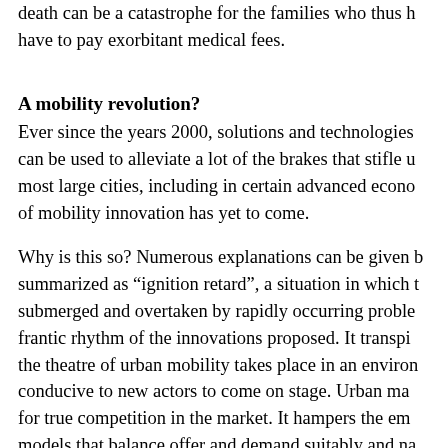death can be a catastrophe for the families who thus have to pay exorbitant medical fees.
A mobility revolution?
Ever since the years 2000, solutions and technologies can be used to alleviate a lot of the brakes that stifle urban mobility in most large cities, including in certain advanced economies. The best of mobility innovation has yet to come.
Why is this so? Numerous explanations can be given but can be summarized as "ignition retard", a situation in which the offer is submerged and overtaken by rapidly occurring problems and the frantic rhythm of the innovations proposed. It transpires that the theatre of urban mobility takes place in an environment not conducive to new actors to come on stage. Urban markets do not allow for true competition in the market. It hampers the emergence of models that balance offer and demand suitably and naturally, as they have succeeded in making the changes, such as the way it did in telecommunications. Over a two year span, the coupling of low-cost equipment and high level innovation in the software...